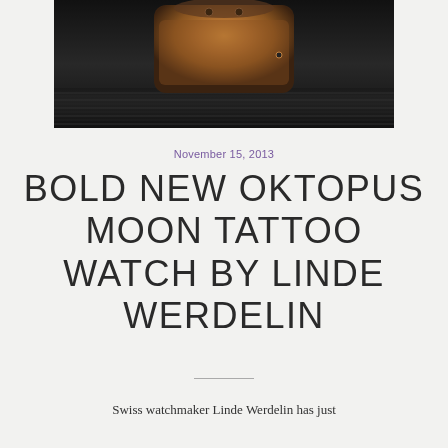[Figure (photo): Close-up photograph of a luxury watch with copper/rose gold octopus-textured case on a dark leather strap, shot against a dark background]
November 15, 2013
BOLD NEW OKTOPUS MOON TATTOO WATCH BY LINDE WERDELIN
Swiss watchmaker Linde Werdelin has just